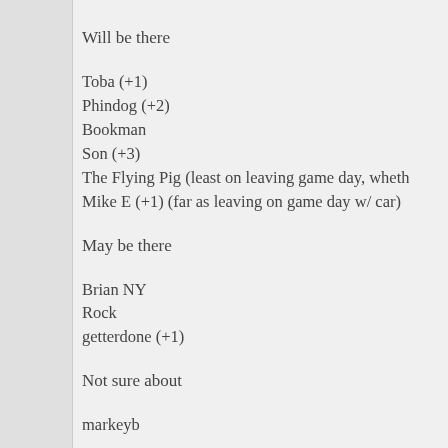Will be there
Toba (+1)
Phindog (+2)
Bookman
Son (+3)
The Flying Pig (least on leaving game day, wheth
Mike E (+1) (far as leaving on game day w/ car)
May be there
Brian NY
Rock
getterdone (+1)
Not sure about
markeyb